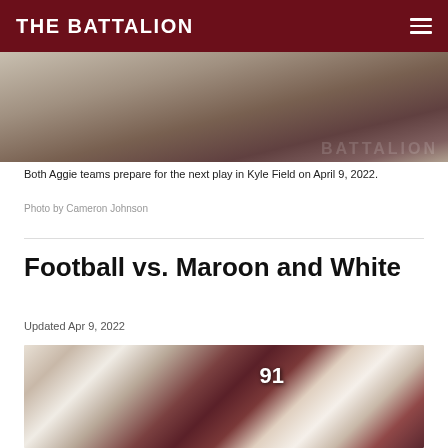THE BATTALION
[Figure (photo): Texas A&M football players lined up on the field at Kyle Field, view from sideline level showing legs and lower bodies of players in maroon and white uniforms with BATTALION text visible in background]
Both Aggie teams prepare for the next play in Kyle Field on April 9, 2022.
Photo by Cameron Johnson
Football vs. Maroon and White
Updated Apr 9, 2022
[Figure (photo): Texas A&M football players on the field during the Maroon and White spring game at Kyle Field. Player wearing #91 in maroon uniform is visible, along with players in white uniforms and a player in green jersey. Stadium seats filled with fans in background.]